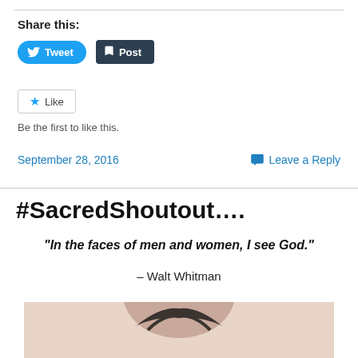Share this:
[Figure (other): Tweet button (blue rounded) and Post button (dark rounded) social sharing buttons]
[Figure (other): Like button with star icon]
Be the first to like this.
September 28, 2016
Leave a Reply
#SacredShoutout….
“In the faces of men and women, I see God.”
– Walt Whitman
[Figure (photo): Partial photo of a person, light skin background, dark hair visible at top, cropped]